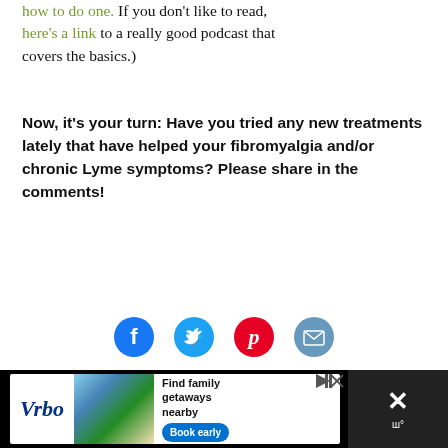how to do one. If you don't like to read, here's a link to a really good podcast that covers the basics.)
Now, it's your turn: Have you tried any new treatments lately that have helped your fibromyalgia and/or chronic Lyme symptoms? Please share in the comments!
[Figure (other): Social sharing icons: Facebook (blue circle with f), Twitter (teal circle with bird), Pinterest (red circle with P), Email (blue-grey circle with envelope)]
[Figure (other): Vrbo advertisement banner with logo, beach house photo, 'Find family getaways nearby' text, and 'Book early' button]